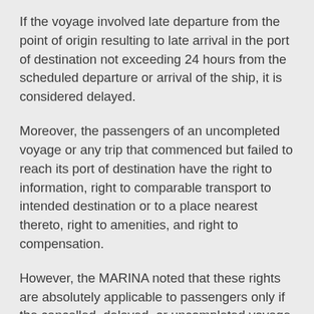If the voyage involved late departure from the point of origin resulting to late arrival in the port of destination not exceeding 24 hours from the scheduled departure or arrival of the ship, it is considered delayed.
Moreover, the passengers of an uncompleted voyage or any trip that commenced but failed to reach its port of destination have the right to information, right to comparable transport to intended destination or to a place nearest thereto, right to amenities, and right to compensation.
However, the MARINA noted that these rights are absolutely applicable to passengers only if the cancelled, delayed, or uncompleted voyage is caused by the shipping operator. These are not applicable if the unfortunate event is caused by the passengers themselves.